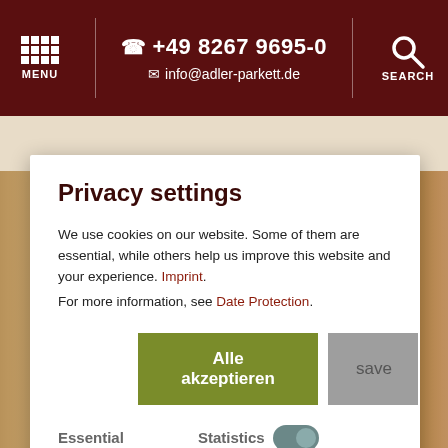MENU  +49 8267 9695-0  info@adler-parkett.de  SEARCH
[Figure (screenshot): Wood parquet floor texture background image]
Privacy settings
We use cookies on our website. Some of them are essential, while others help us improve this website and your experience. Imprint. For more information, see Date Protection.
Alle akzeptieren  save
Essential    Statistics    External content